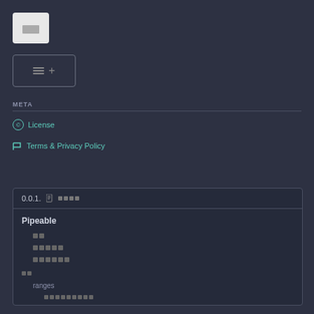[Figure (screenshot): UI button with two horizontal bars (menu icon) on light background]
[Figure (screenshot): UI button with bars and plus icon, outlined border]
META
License
Terms & Privacy Policy
[Figure (screenshot): Version block 0.0.1 with Pipeable tree showing items and ranges sub-items]